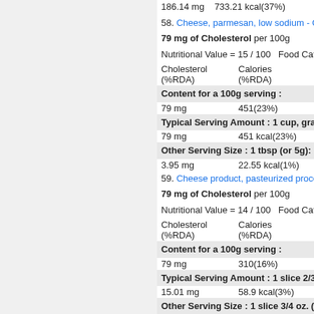186.14 mg    733.21 kcal(37%)
58. Cheese, parmesan, low sodium - Cho...
79 mg of Cholesterol per 100g
Nutritional Value = 15 / 100    Food Categ...
Cholesterol (%RDA)    Calories (%RDA)
Content for a 100g serving :
79 mg    451(23%)
Typical Serving Amount : 1 cup, grate...
79 mg    451 kcal(23%)
Other Serving Size : 1 tbsp (or 5g):
3.95 mg    22.55 kcal(1%)
59. Cheese product, pasteurized process...
79 mg of Cholesterol per 100g
Nutritional Value = 14 / 100    Food Categ...
Cholesterol (%RDA)    Calories (%RDA)
Content for a 100g serving :
79 mg    310(16%)
Typical Serving Amount : 1 slice 2/3 oz...
15.01 mg    58.9 kcal(3%)
Other Serving Size : 1 slice 3/4 oz. (or...
16.59 mg    65.1 kcal(3%)
60. Cheese, goat, semisoft type - Choles...
79 mg of Cholesterol per 100g
Nutritional Value = 14 / 100    Food Categ...